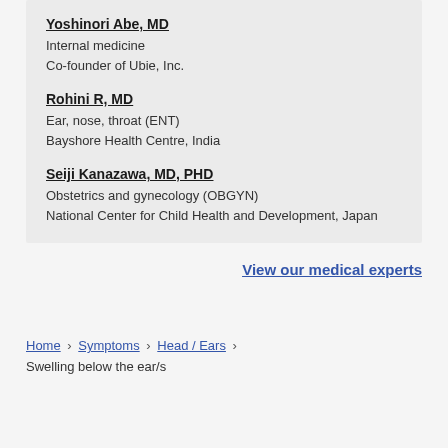Yoshinori Abe, MD
Internal medicine
Co-founder of Ubie, Inc.
Rohini R, MD
Ear, nose, throat (ENT)
Bayshore Health Centre, India
Seiji Kanazawa, MD, PHD
Obstetrics and gynecology (OBGYN)
National Center for Child Health and Development, Japan
View our medical experts
Home › Symptoms › Head / Ears › Swelling below the ear/s